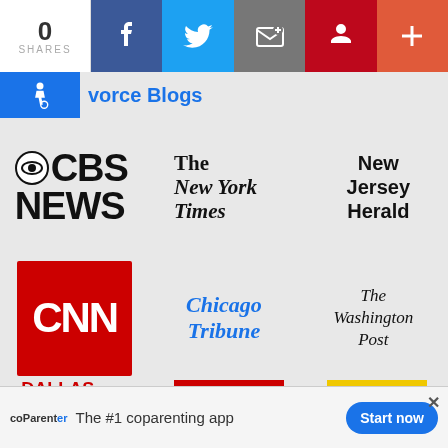0 SHARES
vorce Blogs
[Figure (logo): CBS News logo]
[Figure (logo): The New York Times logo]
[Figure (logo): New Jersey Herald logo]
[Figure (logo): CNN logo - red box with white CNN text]
[Figure (logo): Chicago Tribune logo in blue italic serif]
[Figure (logo): The Washington Post logo in black italic serif]
[Figure (logo): Dallas Business Journal logo in red]
[Figure (logo): The Globe and Mail logo on red background]
[Figure (logo): National Post logo on yellow background]
coParentier - The #1 coparenting app - Start now